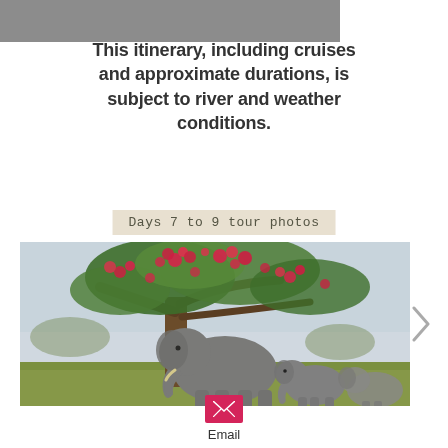This itinerary, including cruises and approximate durations, is subject to river and weather conditions.
Days 7 to 9 tour photos
[Figure (photo): Photograph of three elephants (two adults and one baby) walking under a large tree with bright pink/red flowering blossoms, in a grassy savanna landscape.]
Email